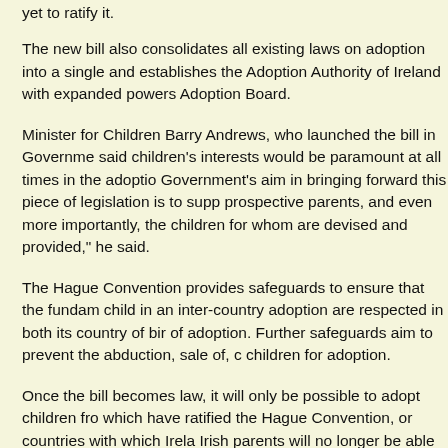yet to ratify it.
The new bill also consolidates all existing laws on adoption into a single and establishes the Adoption Authority of Ireland with expanded powers Adoption Board.
Minister for Children Barry Andrews, who launched the bill in Governme said children's interests would be paramount at all times in the adoptio Government's aim in bringing forward this piece of legislation is to supp prospective parents, and even more importantly, the children for whom are devised and provided," he said.
The Hague Convention provides safeguards to ensure that the fundam child in an inter-country adoption are respected in both its country of bir of adoption. Further safeguards aim to prevent the abduction, sale of, c children for adoption.
Once the bill becomes law, it will only be possible to adopt children fro which have ratified the Hague Convention, or countries with which Irela Irish parents will no longer be able to adopt from countries which do no convention, unless agreement are drawn up before the bill is enacted.
Mr Andrews said his officials were working to “assess the possibility” of Vietnam, Ethiopia and Russia. Some 5,000 children have come to Irela coming from countries not covered by the Hague Convention or bilatera
The bill reflected the fact that adoption had changed greatly since it wa